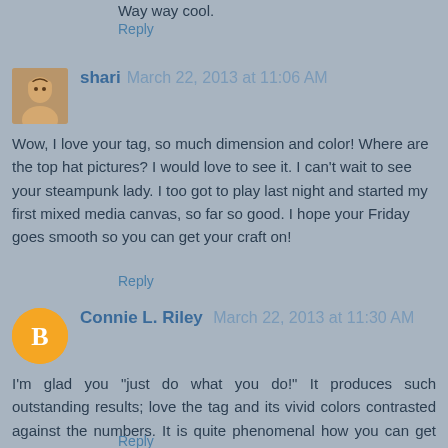Way way cool.
Reply
shari March 22, 2013 at 11:06 AM
Wow, I love your tag, so much dimension and color! Where are the top hat pictures? I would love to see it. I can't wait to see your steampunk lady. I too got to play last night and started my first mixed media canvas, so far so good. I hope your Friday goes smooth so you can get your craft on!
Reply
Connie L. Riley March 22, 2013 at 11:30 AM
I'm glad you "just do what you do!" It produces such outstanding results; love the tag and its vivid colors contrasted against the numbers. It is quite phenomenal how you can get so many different images on one tag and make them mesh seamlessly. Thanks for sharing your talent, Jim.
Reply